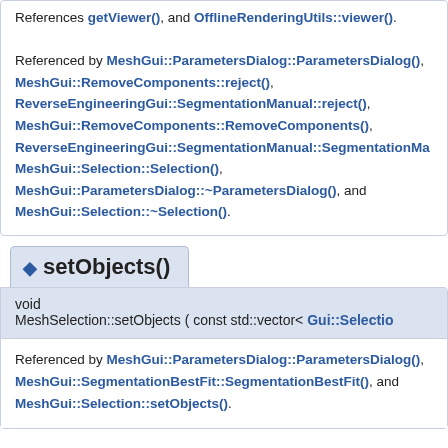References getViewer(), and OfflineRenderingUtils::viewer().
Referenced by MeshGui::ParametersDialog::ParametersDialog(), MeshGui::RemoveComponents::reject(), ReverseEngineeringGui::SegmentationManual::reject(), MeshGui::RemoveComponents::RemoveComponents(), ReverseEngineeringGui::SegmentationManual::SegmentationMa..., MeshGui::Selection::Selection(), MeshGui::ParametersDialog::~ParametersDialog(), and MeshGui::Selection::~Selection().
setObjects()
void MeshSelection::setObjects ( const std::vector< Gui::Selectio...
Referenced by MeshGui::ParametersDialog::ParametersDialog(), MeshGui::SegmentationBestFit::SegmentationBestFit(), and MeshGui::Selection::setObjects().